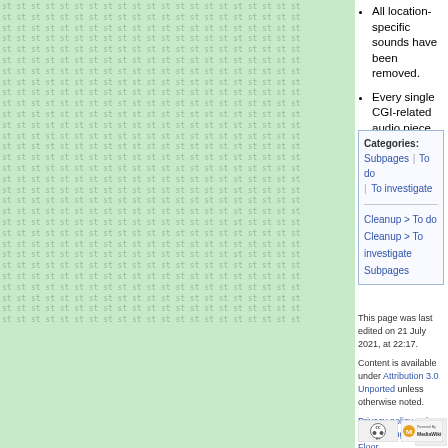All location-specific sounds have been removed.
Every single CGI-related audio piece has been removed.
Categories: Subpages | To do | To investigate
Cleanup > To do
Cleanup > To investigate
Subpages
This page was last edited on 21 July 2021, at 22:17.
Content is available under Attribution 3.0 Unported unless otherwise noted.
Privacy policy  About The Cutting Room Floor
Disclaimers
[Figure (logo): Creative Commons Attribution logo (CC BY)]
[Figure (logo): Powered by MediaWiki logo]